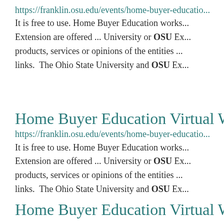https://franklin.osu.edu/events/home-buyer-educatio...
It is free to use. Home Buyer Education works... Extension are offered ... University or OSU Ex... products, services or opinions of the entities... links.  The Ohio State University and OSU Ex...
Home Buyer Education Virtual Works...
https://franklin.osu.edu/events/home-buyer-educatio...
It is free to use. Home Buyer Education works... Extension are offered ... University or OSU Ex... products, services or opinions of the entities... links.  The Ohio State University and OSU Ex...
Home Buyer Education Virtual Works...